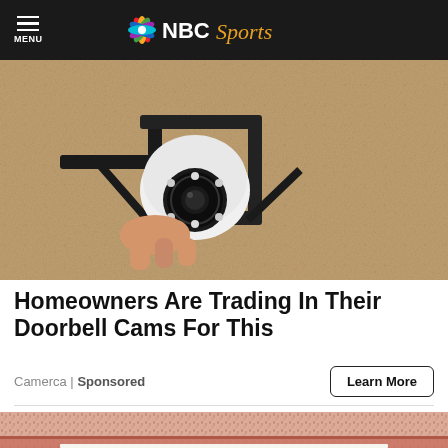NBC Sports
[Figure (photo): Security camera mounted on a textured beige/tan wall, close-up view showing a white dome camera with black metal mount and circular LED ring around lens]
Homeowners Are Trading In Their Doorbell Cams For This
Camerca | Sponsored
[Figure (photo): Close-up photo of a person's mouth/chin area with stubble beard, showing teeth at bottom of frame]